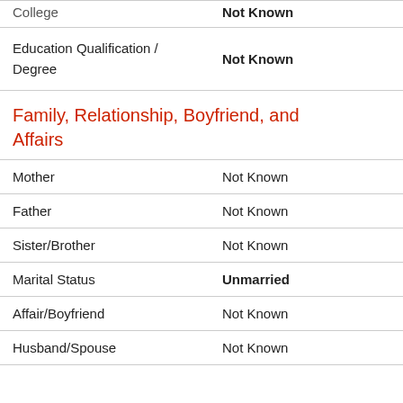| Field | Value |
| --- | --- |
| College | Not Known |
| Education Qualification / Degree | Not Known |
Family, Relationship, Boyfriend, and Affairs
| Field | Value |
| --- | --- |
| Mother | Not Known |
| Father | Not Known |
| Sister/Brother | Not Known |
| Marital Status | Unmarried |
| Affair/Boyfriend | Not Known |
| Husband/Spouse | Not Known |